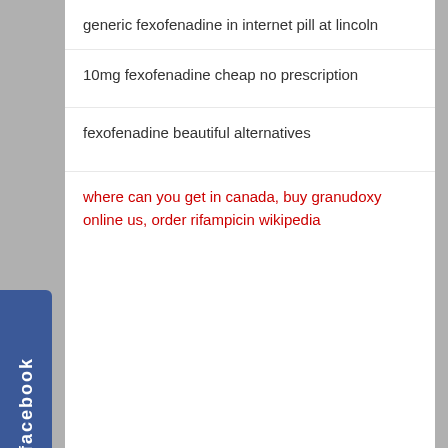generic fexofenadine in internet pill at lincoln
10mg fexofenadine cheap no prescription
fexofenadine beautiful alternatives
where can you get in canada, buy granudoxy online us, order rifampicin wikipedia
[Figure (screenshot): Facebook tab on left side of page, blue with white text 'facebook' written vertically]
👍 KÖVESS MINKET!
[Figure (logo): Vida Fitness YouTube Official Channel logo — black and white with gold figure]